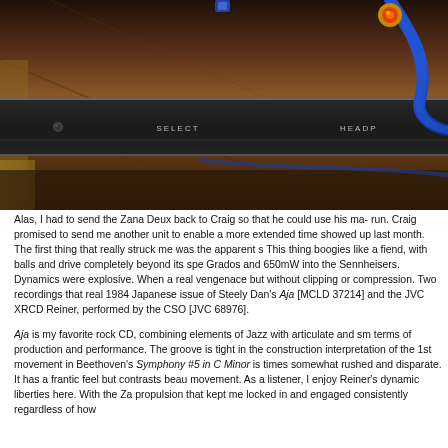[Figure (photo): Close-up photo of audio equipment panel showing SELECT and HEADPHONES labels on a dark metal panel, with a blue cable connector on the right side, set against a dark wooden surface]
Alas, I had to send the Zana Deux back to Craig so that he could use his ma- run. Craig promised to send me another unit to enable a more extended time showed up last month. The first thing that really struck me was the apparent s This thing boogies like a fiend, with balls and drive completely beyond its spe Grados and 650mW into the Sennheisers. Dynamics were explosive. When a real vengenace but without clipping or compression. Two recordings that real 1984 Japanese issue of Steely Dan's Aja [MCLD 37214] and the JVC XRCD Reiner, performed by the CSO [JVC 68976].
Aja is my favorite rock CD, combining elements of Jazz with articulate and sm terms of production and performance. The groove is tight in the construction interpretation of the 1st movement in Beethoven's Symphony #5 in C Minor is times somewhat rushed and disparate. It has a frantic feel but contrasts beau movement. As a listener, I enjoy Reiner's dynamic liberties here. With the Za propulsion that kept me locked in and engaged consistently regardless of how